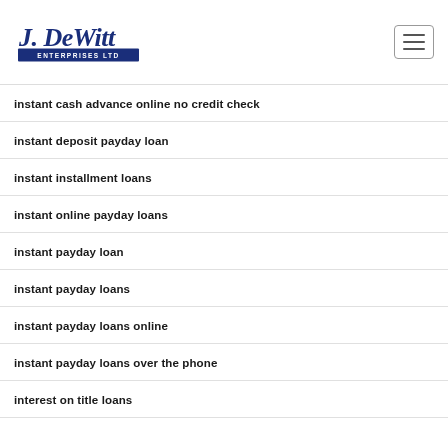[Figure (logo): J. DeWitt Enterprises Ltd logo with blue script text and navy banner]
instant cash advance online no credit check
instant deposit payday loan
instant installment loans
instant online payday loans
instant payday loan
instant payday loans
instant payday loans online
instant payday loans over the phone
interest on title loans